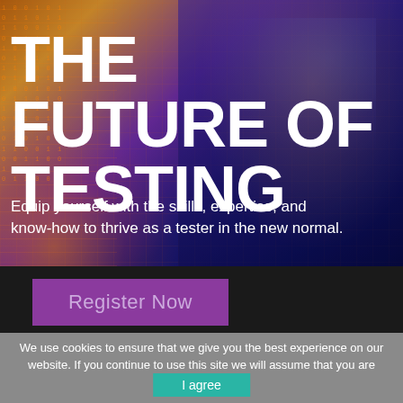[Figure (photo): Hero background image of a woman thinking in front of digital/tech overlays with binary code, orange light on left, blue light on right, purple/dark background]
THE FUTURE OF TESTING
Equip yourself with the skills, expertise, and know-how to thrive as a tester in the new normal.
Register Now
We use cookies to ensure that we give you the best experience on our website. If you continue to use this site we will assume that you are happy with it.
I agree